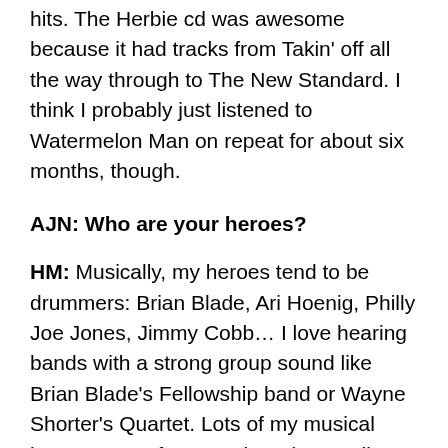hits. The Herbie cd was awesome because it had tracks from Takin' off all the way through to The New Standard. I think I probably just listened to Watermelon Man on repeat for about six months, though.
AJN: Who are your heroes?
HM: Musically, my heroes tend to be drummers: Brian Blade, Ari Hoenig, Philly Joe Jones, Jimmy Cobb… I love hearing bands with a strong group sound like Brian Blade's Fellowship band or Wayne Shorter's Quartet. Lots of my musical heroes come from Perth and Australia too. Personally though my heroes are my friends and